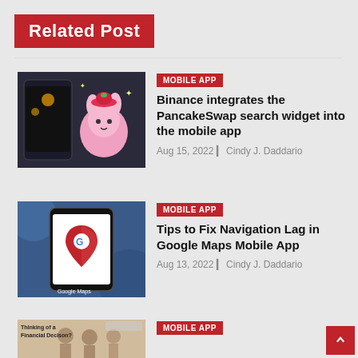Related Post
[Figure (photo): Pink cartoon character with strawberry hat next to a smartphone showing Binance app]
MOBILE APP
Binance integrates the PancakeSwap search widget into the mobile app
Aug 15, 2022 | Cindy J. Daddario
[Figure (photo): Smartphone showing Google Maps app logo on blue background]
MOBILE APP
Tips to Fix Navigation Lag in Google Maps Mobile App
Aug 13, 2022 | Cindy J. Daddario
[Figure (photo): Financial decision article thumbnail with people in background]
MOBILE APP